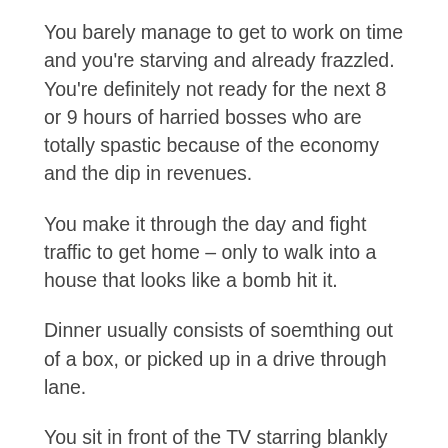You barely manage to get to work on time and you're starving and already frazzled. You're definitely not ready for the next 8 or 9 hours of harried bosses who are totally spastic because of the economy and the dip in revenues.
You make it through the day and fight traffic to get home – only to walk into a house that looks like a bomb hit it.
Dinner usually consists of soemthing out of a box, or picked up in a drive through lane.
You sit in front of the TV starring blankly until you realize that you should have been in bed.
Nothing has been done around the house…